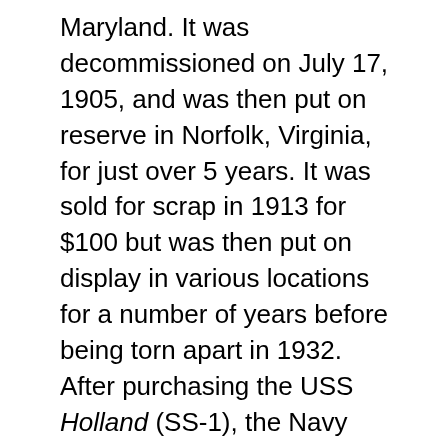Maryland. It was decommissioned on July 17, 1905, and was then put on reserve in Norfolk, Virginia, for just over 5 years. It was sold for scrap in 1913 for $100 but was then put on display in various locations for a number of years before being torn apart in 1932. After purchasing the USS Holland (SS-1), the Navy went on to buy other submarines from Holland's company, such as those of the Plunger class.
The designing of submarines came to prominence in the nineteenth century, and submarines were first widely used during World War I. Modern submarines range from small vessels that can only carry one or two people and stay submerged for just a few